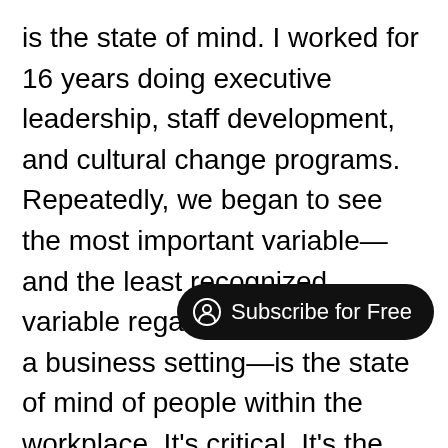is the state of mind. I worked for 16 years doing executive leadership, staff development, and cultural change programs. Repeatedly, we began to see the most important variable—and the least recognized variable regarding importance in a business setting—is the state of mind of people within the workplace. It's critical. It's the biggest determinant of how productive people are, how well they listen, how well they communicate, the quality of decisions, the ease with which a group can make decisions, and their ability to solve problems collaboratively. The state of mind determines all these qualities.

When I worked in companies, the first thing I would do is help people become more aware of the state